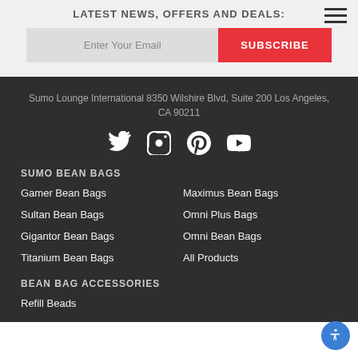LATEST NEWS, OFFERS AND DEALS:
Enter Your Email
SUBSCRIBE
Sumo Lounge International 8350 Wilshire Blvd, Suite 200 Los Angeles, CA 90211
[Figure (infographic): Social media icons: Twitter, Instagram, Pinterest, YouTube]
SUMO BEAN BAGS
Gamer Bean Bags
Maximus Bean Bags
Sultan Bean Bags
Omni Plus Bags
Gigantor Bean Bags
Omni Bean Bags
Titanium Bean Bags
All Products
BEAN BAG ACCESSORIES
Refill Beads